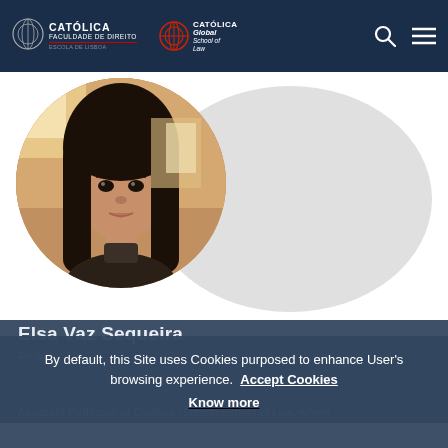[Figure (logo): Católica Faculdade de Direito - Escola de Lisboa logo (left) and Católica Global School of Law logo (right) in dark navy header]
[Figure (photo): Circular profile photo of Elsa Vaz Sequeira, a woman with long dark hair, on a white background with large grey oval shape]
Elsa Vaz Sequeira
Profess...
Assistant Professor at Católica | Lisbon School of Law, where
By default, this Site uses Cookies purposed to enhance User's browsing experience.  Accept Cookies  Know more